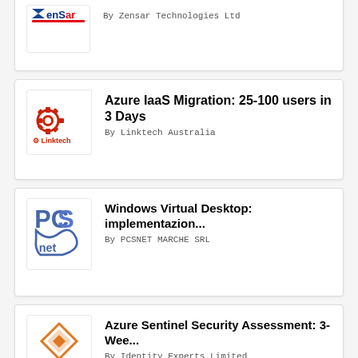[Figure (logo): ZenSar Technologies Ltd logo - blue text logo]
By Zensar Technologies Ltd
[Figure (logo): Linktech Australia logo - red gear icon with Linktech text]
Azure IaaS Migration: 25-100 users in 3 Days
By Linktech Australia
[Figure (logo): PCS Net logo - blue stylized PCsnet text]
Windows Virtual Desktop: implementazion...
By PCSNET MARCHE SRL
[Figure (logo): Identity Experts logo - orange diamond icon with Identity Experts text]
Azure Sentinel Security Assessment: 3-Wee...
By Identity Experts Limited
[Figure (logo): Performance Enhancements Incorporated logo - red geometric crest]
Azure Domain Controller Implementation: ...
By Performance Enhancements, Incorporated